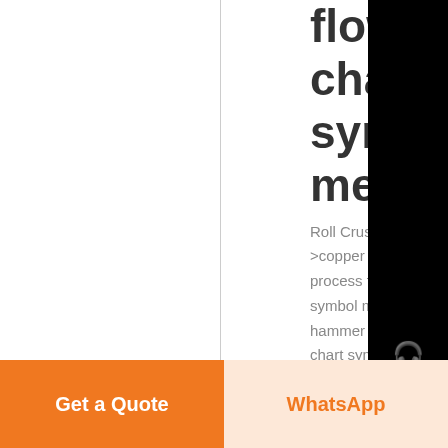flow chart symbol meaning
Roll Crusher
>copper rolling mill process flow chart symbol meaning
hammer mill flow chart symbol 668
Flow chart is the visual flow chart analyses later on factors flow diagram for milling seeds
[Figure (other): Website sidebar with Chat, E-mail, and Top navigation icons on black background]
Get a Quote
WhatsApp